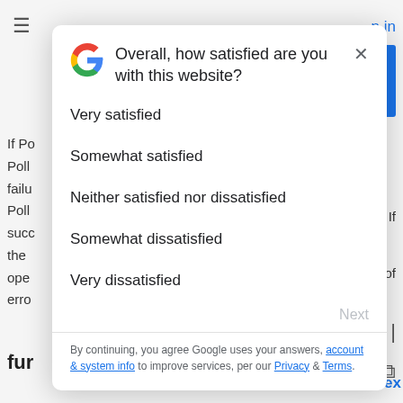[Figure (screenshot): Background of a Google support/documentation web page, partially obscured by a modal dialog. Visible elements include a hamburger menu icon, 'in' text in blue (part of 'Sign in'), a blue rectangle button, partial text beginning with 'If Po', 'Poll', 'failu', 'Poll', 'succ', 'the', 'ope', 'erro', bold 'fur' text, and a copy icon with 'ntex' text in blue.]
Overall, how satisfied are you with this website?
Very satisfied
Somewhat satisfied
Neither satisfied nor dissatisfied
Somewhat dissatisfied
Very dissatisfied
Next
By continuing, you agree Google uses your answers, account & system info to improve services, per our Privacy & Terms.